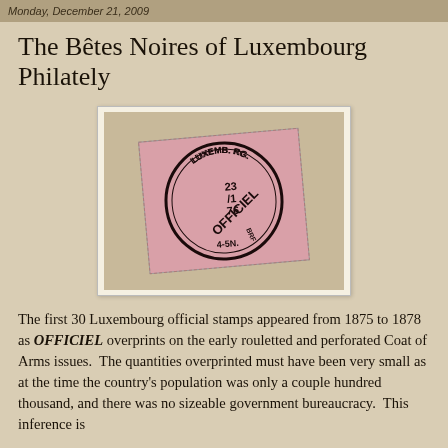Monday, December 21, 2009
The Bêtes Noires of Luxembourg Philately
[Figure (photo): A used Luxembourg official stamp with OFFICIEL overprint, mounted on a beige card, showing a circular postmark reading LUXEMBOURG and OFFICIEL with date 23/6 and 4-5N.]
The first 30 Luxembourg official stamps appeared from 1875 to 1878 as OFFICIEL overprints on the early rouletted and perforated Coat of Arms issues.  The quantities overprinted must have been very small as at the time the country's population was only a couple hundred thousand, and there was no sizeable government bureaucracy.  This inference is